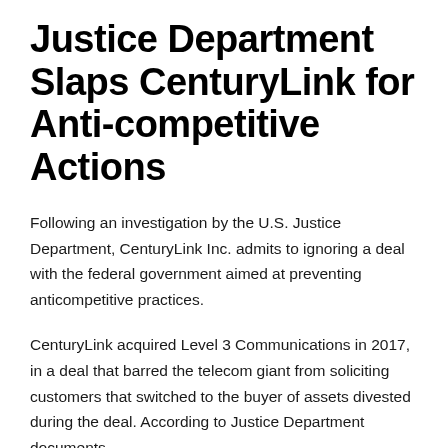Justice Department Slaps CenturyLink for Anti-competitive Actions
Following an investigation by the U.S. Justice Department, CenturyLink Inc. admits to ignoring a deal with the federal government aimed at preventing anticompetitive practices.
CenturyLink acquired Level 3 Communications in 2017, in a deal that barred the telecom giant from soliciting customers that switched to the buyer of assets divested during the deal. According to Justice Department documents